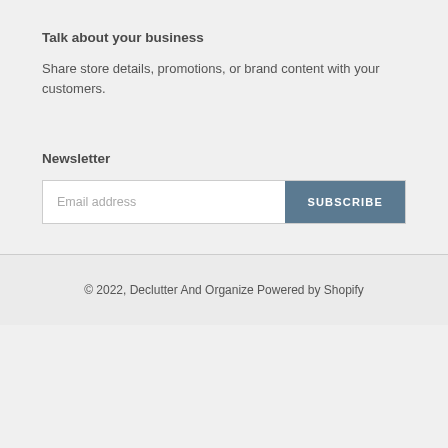Talk about your business
Share store details, promotions, or brand content with your customers.
Newsletter
[Figure (other): Email subscription form with text input labeled 'Email address' and a blue 'SUBSCRIBE' button]
© 2022, Declutter And Organize  Powered by Shopify